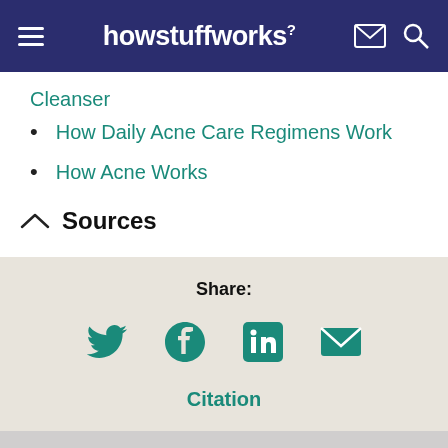howstuffworks
Cleanser
How Daily Acne Care Regimens Work
How Acne Works
Sources
[Figure (infographic): Share section with social media icons (Twitter, Facebook, LinkedIn, Email) and Citation link on a beige background]
Share:
Citation